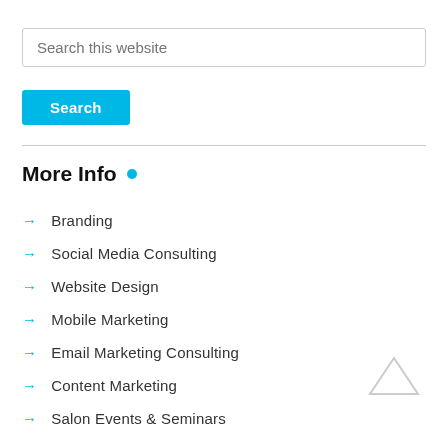Search this website
Search
More Info •
Branding
Social Media Consulting
Website Design
Mobile Marketing
Email Marketing Consulting
Content Marketing
Salon Events & Seminars